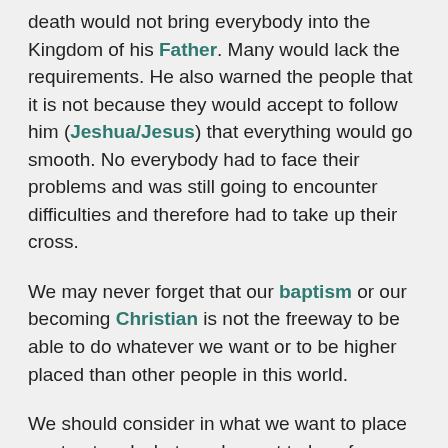death would not bring everybody into the Kingdom of his Father. Many would lack the requirements. He also warned the people that it is not because they would accept to follow him (Jeshua/Jesus) that everything would go smooth. No everybody had to face their problems and was still going to encounter difficulties and therefore had to take up their cross.
We may never forget that our baptism or our becoming Christian is not the freeway to be able to do whatever we want or to be higher placed than other people in this world.
We should consider in what we want to place our trust and what we do want to love from this world. We should be conscious how difficult it is for those who trust in riches to enter into the kingdom of God. It is easier for a camel to go through the hole of a needle, than for a rich man to enter into the kingdom of God.